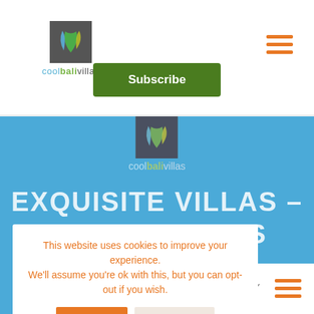[Figure (logo): coolbalivillas logo: gray square icon with colorful leaf/plant design, text 'coolbalivillas' below with 'cool' in blue, 'bali' in green bold, 'villas' in gray]
[Figure (other): Hamburger menu icon (three horizontal orange lines) in top right corner]
Subscribe
[Figure (screenshot): Blue hero banner section with coolbalivillas logo centered and large uppercase white text 'EXQUISITE VILLAS – ...ONS' (partially obscured by cookie popup)]
This website uses cookies to improve your experience.
We'll assume you're ok with this, but you can opt-out if you wish.
Accept
Read More